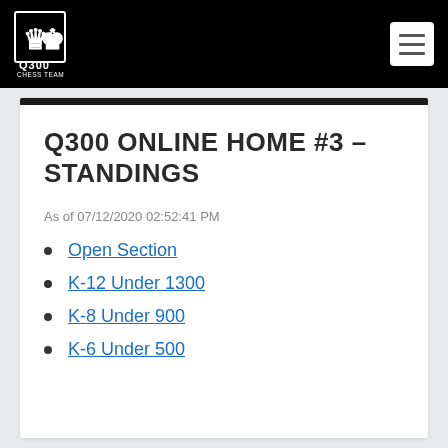Q300 Chess Team
Q300 ONLINE HOME #3 – STANDINGS
As of 07/12/2020 02:52:41 PM
Open Section
K-12 Under 1300
K-8 Under 900
K-6 Under 500